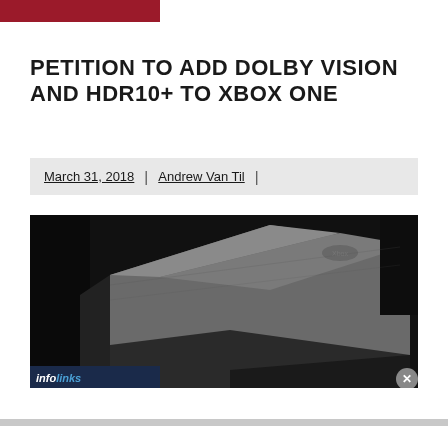PETITION TO ADD DOLBY VISION AND HDR10+ TO XBOX ONE
March 31, 2018 | Andrew Van Til |
[Figure (photo): Dark photo of an Xbox One console shown at an angle on a dark background. The Xbox logo is faintly visible on the top surface of the device.]
infolinks